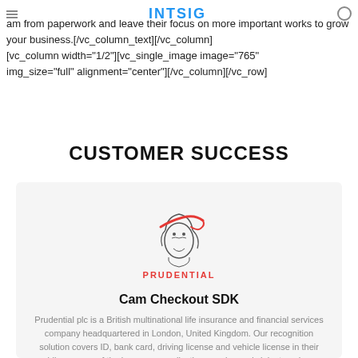INTSIG
am from paperwork and leave their focus on more important works to grow your business.[/vc_column_text][/vc_column][vc_column width="1/2"][vc_single_image image="765" img_size="full" alignment="center"][/vc_column][/vc_row]
CUSTOMER SUCCESS
[Figure (logo): Prudential company logo — illustration of a figure with red headband above the word PRUDENTIAL in red]
Cam Checkout SDK
Prudential plc is a British multinational life insurance and financial services company headquartered in London, United Kingdom. Our recognition solution covers ID, bank card, driving license and vehicle license in their mobile process of the insurance application, service and claim to enhance user experience.